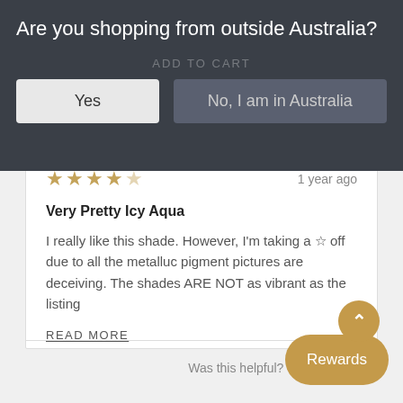Are you shopping from outside Australia?
ADD TO CART
Yes
No, I am in Australia
1 year ago
Very Pretty Icy Aqua
I really like this shade. However, I'm taking a ☆ off due to all the metalluc pigment pictures are deceiving. The shades ARE NOT as vibrant as the listing
READ MORE
Was this helpful?  👍 0  👎 0
Rewards